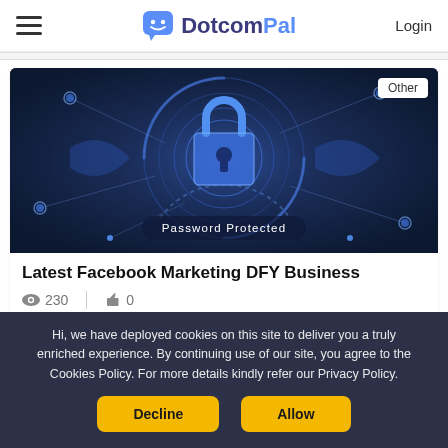DotcomPal — Login
[Figure (screenshot): Dark blue cybersecurity themed image with a glowing padlock in the center surrounded by circular digital patterns and network nodes. Text overlay reads 'Password Protected'. Badge in top-right corner says 'Other'.]
Latest Facebook Marketing DFY Business
230 views | 0 likes
Hi, we have deployed cookies on this site to deliver you a truly enriched experience. By continuing use of our site, you agree to the Cookies Policy. For more details kindly refer our Privacy Policy.